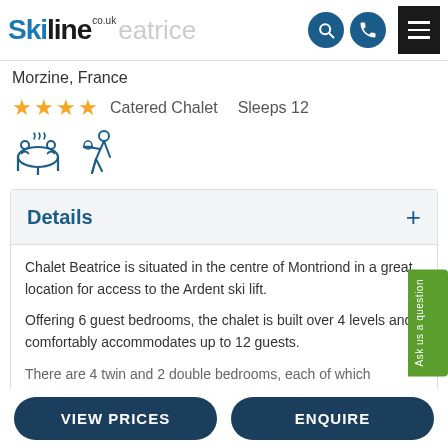Skiline.co.uk — Chalet Beatrice
Morzine, France
★★★★ Catered Chalet  Sleeps 12
[Figure (illustration): Two amenity icons: hot tub / dining table icon and a skiing/wine service icon]
Details
Chalet Beatrice is situated in the centre of Montriond in a great location for access to the Ardent ski lift.

Offering 6 guest bedrooms, the chalet is built over 4 levels and comfortably accommodates up to 12 guests.
There are 4 twin and 2 double bedrooms, each of which…